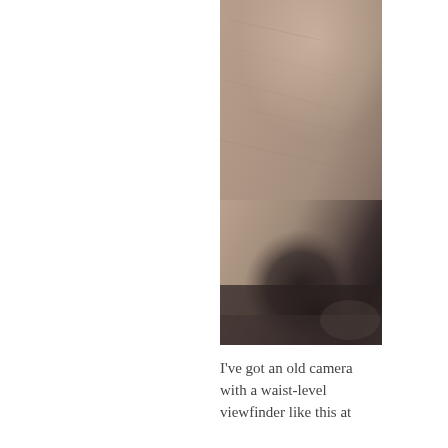[Figure (photo): A narrow vertical photograph showing a blurry, close-up image of what appears to be skin or fabric texture. The upper portion is a warm beige/tan color with fine lines, and the lower portion transitions to darker grey-black tones with indistinct shadowy shapes.]
I've got an old camera with a waist-level viewfinder like this at